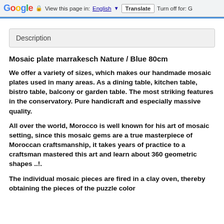Google  View this page in: English [▼]  Translate  Turn off for: G
Description
Mosaic plate marrakesch Nature / Blue 80cm
We offer a variety of sizes, which makes our handmade mosaic plates used in many areas. As a dining table, kitchen table, bistro table, balcony or garden table. The most striking features in the conservatory. Pure handicraft and especially massive quality.
All over the world, Morocco is well known for his art of mosaic setting, since this mosaic gems are a true masterpiece of Moroccan craftsmanship, it takes years of practice to a craftsman mastered this art and learn about 360 geometric shapes ..!.
The individual mosaic pieces are fired in a clay oven, thereby obtaining the pieces of the puzzle color